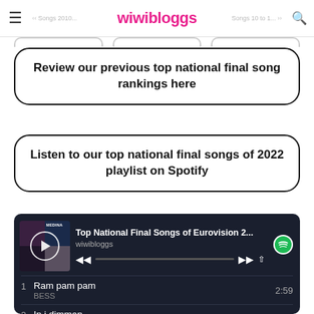wiwibloggs | Songs 2010... | Songs 10 to 1...
Review our previous top national final song rankings here
Listen to our top national final songs of 2022 playlist on Spotify
[Figure (screenshot): Spotify embedded player showing 'Top National Final Songs of Eurovision 2...' playlist by wiwibloggs, with album art, play button, progress bar, and track list showing: 1. Ram pam pam - BESS (2:59), 2. In i dimman - Medina (2:53)]